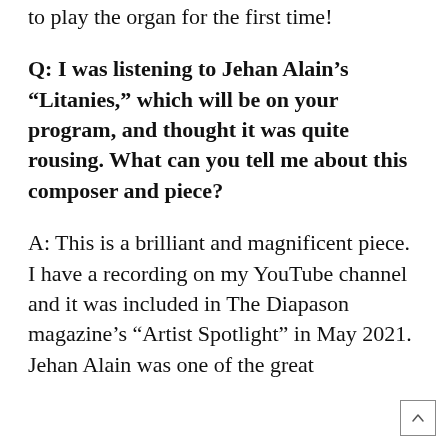to play the organ for the first time!
Q: I was listening to Jehan Alain's “Litanies,” which will be on your program, and thought it was quite rousing. What can you tell me about this composer and piece?
A: This is a brilliant and magnificent piece. I have a recording on my YouTube channel and it was included in The Diapason magazine’s “Artist Spotlight” in May 2021. Jehan Alain was one of the great